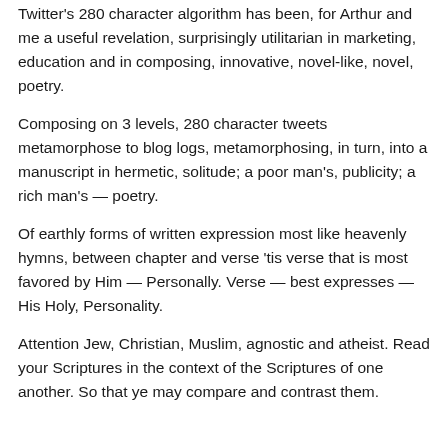Twitter's 280 character algorithm has been, for Arthur and me a useful revelation, surprisingly utilitarian in marketing, education and in composing, innovative, novel-like, novel, poetry.
Composing on 3 levels, 280 character tweets metamorphose to blog logs, metamorphosing, in turn, into a manuscript in hermetic, solitude; a poor man's, publicity; a rich man's — poetry.
Of earthly forms of written expression most like heavenly hymns, between chapter and verse 'tis verse that is most favored by Him — Personally. Verse — best expresses — His Holy, Personality.
Attention Jew, Christian, Muslim, agnostic and atheist. Read your Scriptures in the context of the Scriptures of one another. So that ye may compare and contrast them.